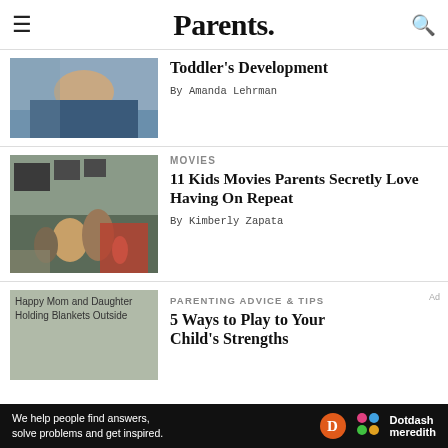Parents.
Toddler's Development
By Amanda Lehrman
MOVIES
11 Kids Movies Parents Secretly Love Having On Repeat
By Kimberly Zapata
PARENTING ADVICE & TIPS
5 Ways to Play to Your Child's Strengths
[Figure (screenshot): Happy Mom and Daughter Holding Blankets Outside — placeholder image]
Ad
We help people find answers, solve problems and get inspired. Dotdash meredith